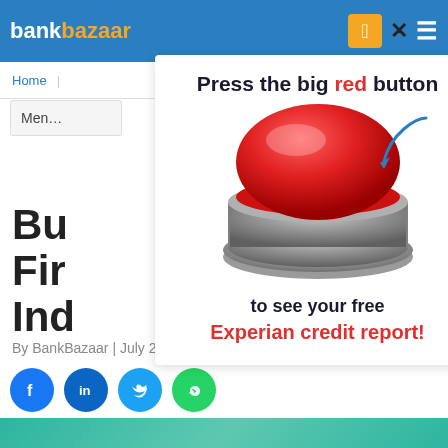bankbazaar
[Figure (screenshot): BankBazaar website screenshot showing a popup with a red button saying 'Press the big red button to see your free Experian credit report!']
Home | Financially
Men…
Bu… ne Fir… Ind…
By BankBazaar | July 23, 2017
[Figure (infographic): Social sharing buttons: Facebook, LinkedIn, Twitter, WhatsApp]